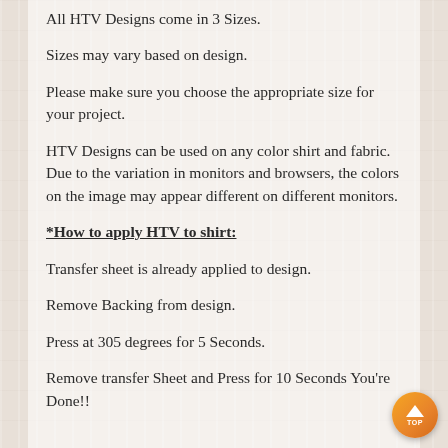All HTV Designs come in 3 Sizes.
Sizes may vary based on design.
Please make sure you choose the appropriate size for your project.
HTV Designs can be used on any color shirt and fabric. Due to the variation in monitors and browsers, the colors on the image may appear different on different monitors.
*How to apply HTV to shirt:
Transfer sheet is already applied to design.
Remove Backing from design.
Press at 305 degrees for 5 Seconds.
Remove transfer Sheet and Press for 10 Seconds You're Done!!